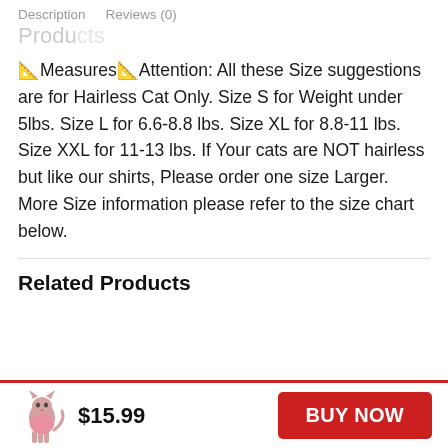Description   Reviews (0)
📐Measures📐Attention: All these Size suggestions are for Hairless Cat Only. Size S for Weight under 5lbs. Size L for 6.6-8.8 lbs. Size XL for 8.8-11 lbs. Size XXL for 11-13 lbs. If Your cats are NOT hairless but like our shirts, Please order one size Larger. More Size information please refer to the size chart below.
Related Products
$15.99
BUY NOW